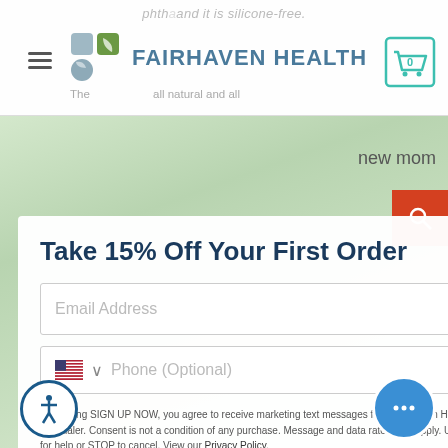[Figure (screenshot): Fairhaven Health website screenshot showing a popup modal with '15% Off Your First Order' offer, email and phone input fields, disclaimer text, and a teal 'SIGN UP NOW' button. The website header shows the Fairhaven Health logo, hamburger menu, cart icon, and search button. Background shows blurred green leaves.]
Take 15% Off Your First Order
Email Address
Phone (Optional)
By clicking SIGN UP NOW, you agree to receive marketing text messages from Fairhaven Health at the number provided, including messages sent by autodialer. Consent is not a condition of any purchase. Message and data rates may apply. U.S. users only. Message frequency varies. Reply HELP for help or STOP to cancel. View our Privacy Policy.
SIGN UP NOW